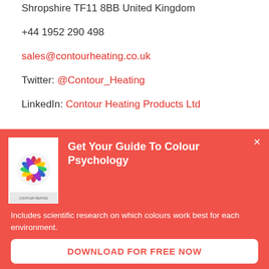Shropshire TF11 8BB United Kingdom
+44 1952 290 498
sales@contourheating.co.uk
Twitter: @Contour_Heating
LinkedIn: Contour Heating Products Ltd
[Figure (infographic): Red popup banner with a book cover image on the left showing a colourful pinwheel design. Title reads 'Get Your Guide To Colour Psychology'. Description: 'Includes scientific research on which colours work best for each environment.' Button: 'DOWNLOAD FOR FREE NOW']